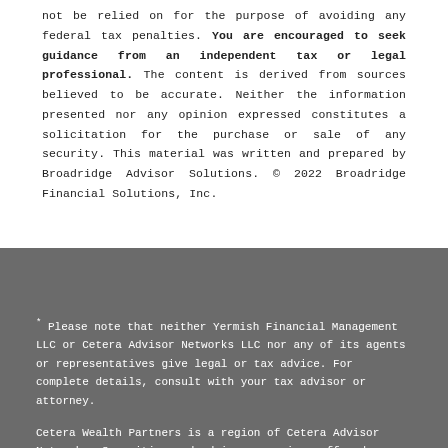not be relied on for the purpose of avoiding any federal tax penalties. You are encouraged to seek guidance from an independent tax or legal professional. The content is derived from sources believed to be accurate. Neither the information presented nor any opinion expressed constitutes a solicitation for the purchase or sale of any security. This material was written and prepared by Broadridge Advisor Solutions. © 2022 Broadridge Financial Solutions, Inc.
* Please note that neither Yermish Financial Management LLC or Cetera Advisor Networks LLC nor any of its agents or representatives give legal or tax advice. For complete details, consult with your tax advisor or attorney.
Cetera Wealth Partners is a region of Cetera Advisor Networks. Securities and advisory services offered through Cetera Advi...